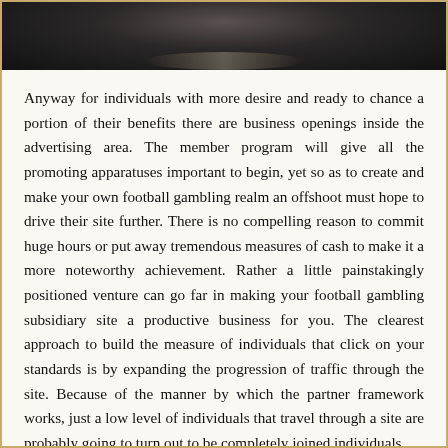[Figure (photo): Dark close-up photo of what appears to be a metallic or electronic device surface, dark background with subtle reflective sheen at the bottom edge.]
Anyway for individuals with more desire and ready to chance a portion of their benefits there are business openings inside the advertising area. The member program will give all the promoting apparatuses important to begin, yet so as to create and make your own football gambling realm an offshoot must hope to drive their site further. There is no compelling reason to commit huge hours or put away tremendous measures of cash to make it a more noteworthy achievement. Rather a little painstakingly positioned venture can go far in making your football gambling subsidiary site a productive business for you. The clearest approach to build the measure of individuals that click on your standards is by expanding the progression of traffic through the site. Because of the manner by which the partner framework works, just a low level of individuals that travel through a site are probably going to turn out to be completely joined individuals.